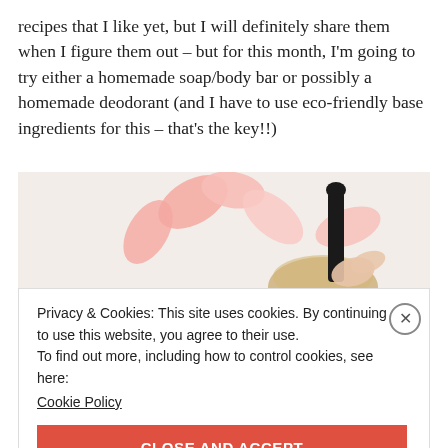recipes that I like yet, but I will definitely share them when I figure them out – but for this month, I'm going to try either a homemade soap/body bar or possibly a homemade deodorant (and I have to use eco-friendly base ingredients for this – that's the key!!)
[Figure (photo): Overhead photo of pink flower petals scattered on a white surface with a dark glass dropper bottle, partial view of a wooden bowl]
Privacy & Cookies: This site uses cookies. By continuing to use this website, you agree to their use.
To find out more, including how to control cookies, see here:
Cookie Policy
CLOSE AND ACCEPT